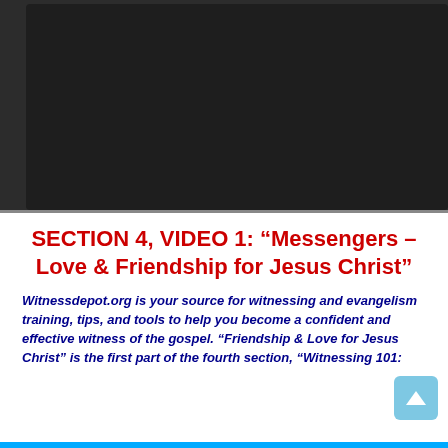[Figure (screenshot): Dark video player area with black/dark grey background, partially cropped]
SECTION 4, VIDEO 1: “Messengers – Love & Friendship for Jesus Christ”
Witnessdepot.org is your source for witnessing and evangelism training, tips, and tools to help you become a confident and effective witness of the gospel. “Friendship & Love for Jesus Christ” is the first part of the fourth section, “Witnessing 101: